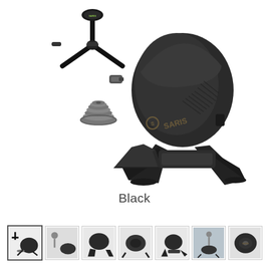[Figure (photo): Saris smart bike trainer (black) shown with accessories: front wheel fork stand, USB ANT+ dongle, cassette sprocket, and front wheel block. The trainer is a direct-drive unit with a large flywheel housing and four-legged base.]
Black
[Figure (photo): Row of 7 small thumbnail images of the Saris trainer from different angles, including product shots and in-use lifestyle photos. First thumbnail is highlighted/selected.]